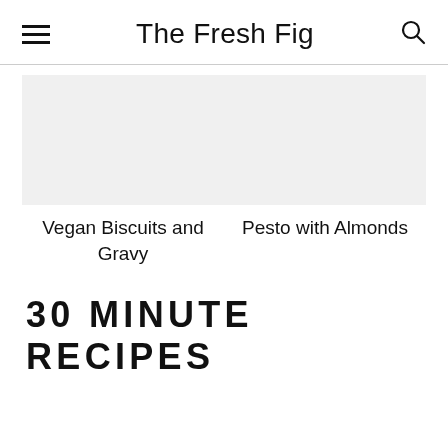The Fresh Fig
Vegan Biscuits and Gravy
Pesto with Almonds
30 MINUTE RECIPES